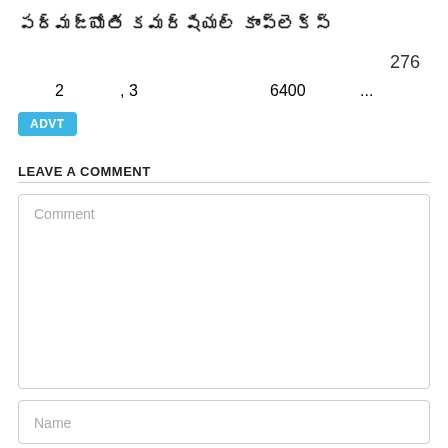పద్మజ్యోతి కమర్షియల్ కాంప్లెక్స్
276
2 , 3 6400 ...
ADVT
LEAVE A COMMENT
Comment
Name